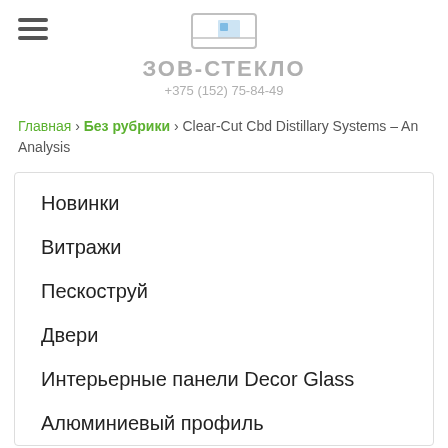ЗОВ-СТЕКЛО +375 (152) 75-84-49
Главная › Без рубрики › Clear-Cut Cbd Distillary Systems – An Analysis
Новинки
Витражи
Пескоструй
Двери
Интерьерные панели Decor Glass
Алюминиевый профиль